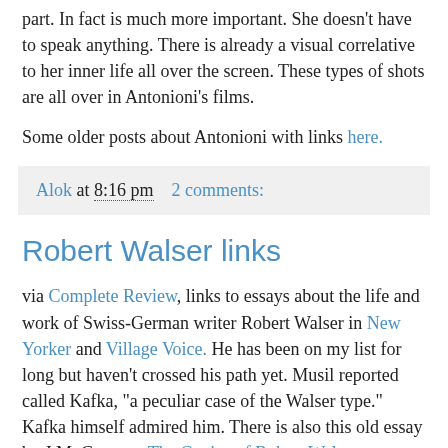part. In fact is much more important. She doesn't have to speak anything. There is already a visual correlative to her inner life all over the screen. These types of shots are all over in Antonioni's films.
Some older posts about Antonioni with links here.
Alok at 8:16 pm   2 comments:
Robert Walser links
via Complete Review, links to essays about the life and work of Swiss-German writer Robert Walser in New Yorker and Village Voice. He has been on my list for long but haven't crossed his path yet. Musil reported called Kafka, "a peculiar case of the Walser type." Kafka himself admired him. There is also this old essay by J.M. Coetzee, The Genius of Robert Walser. (Hmmm. Yet another Genius. Coetzee's latest essay collection has a string of geniuses. Musil is a genius, Svevo is a genius (essay copied here), Walter Benjamin is a genius, Sebald is a genius, Roth, Bellow and Faulkner are geniuses...